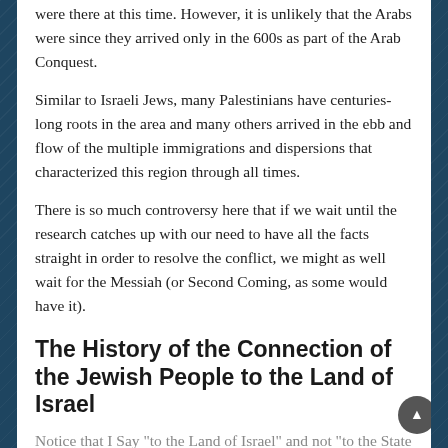were there at this time. However, it is unlikely that the Arabs were since they arrived only in the 600s as part of the Arab Conquest.
Similar to Israeli Jews, many Palestinians have centuries-long roots in the area and many others arrived in the ebb and flow of the multiple immigrations and dispersions that characterized this region through all times.
There is so much controversy here that if we wait until the research catches up with our need to have all the facts straight in order to resolve the conflict, we might as well wait for the Messiah (or Second Coming, as some would have it).
The History of the Connection of the Jewish People to the Land of Israel
Notice that I Say "to the Land of Israel" and not "to the State of Israel"